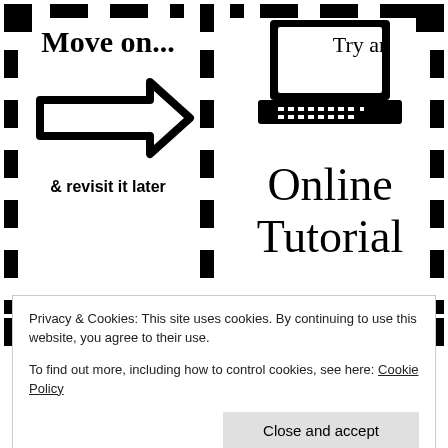[Figure (infographic): Infographic with dashed-border frame pattern. Left panel shows 'Move on...' title with a large arrow pointing right and text '& revisit it later'. Right panel shows a laptop icon with text 'Try an Online Tutorial'. Both panels are enclosed in a dashed rectangular border made of black squares.]
Apply Previous Learning
[Figure (logo): Google logo in gray text]
Privacy & Cookies: This site uses cookies. By continuing to use this website, you agree to their use.
To find out more, including how to control cookies, see here: Cookie Policy
Close and accept